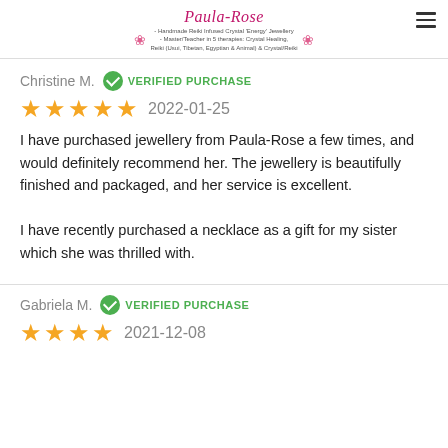Paula-Rose - Handmade Reiki Infused Crystal 'Energy' Jewellery - Master/Teacher in 5 therapies: Crystal Healing, Reiki (Usui, Tibetan, Egyptian & Animal) & Crystal/Reiki
Christine M. VERIFIED PURCHASE
★★★★★ 2022-01-25
I have purchased jewellery from Paula-Rose a few times, and would definitely recommend her. The jewellery is beautifully finished and packaged, and her service is excellent.

I have recently purchased a necklace as a gift for my sister which she was thrilled with.
Gabriela M. VERIFIED PURCHASE
★★★★★ 2021-12-08